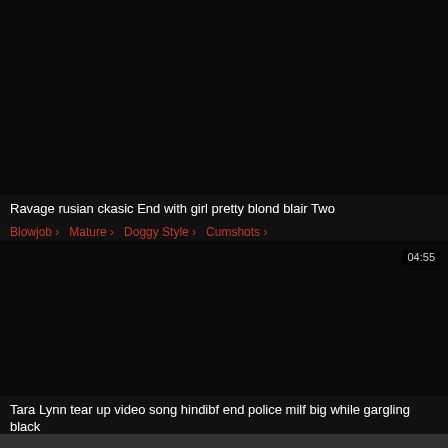[Figure (screenshot): Black video thumbnail for first video card]
Ravage rusian ckasic End with girl pretty blond blair Two
Blowjob > Mature > Doggy Style > Cumshots >
[Figure (screenshot): Black video thumbnail for second video card with duration badge 04:55]
Tara Lynn tear up video song hindibf end police milf big while gargling black
Blowjob > Hardcore > Tara Lynn > Groupsex >